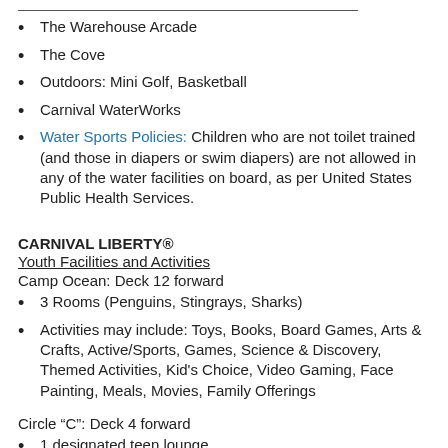The Warehouse Arcade
The Cove
Outdoors: Mini Golf, Basketball
Carnival WaterWorks
Water Sports Policies: Children who are not toilet trained (and those in diapers or swim diapers) are not allowed in any of the water facilities on board, as per United States Public Health Services.
CARNIVAL LIBERTY®
Youth Facilities and Activities
Camp Ocean: Deck 12 forward
3 Rooms (Penguins, Stingrays, Sharks)
Activities may include: Toys, Books, Board Games, Arts & Crafts, Active/Sports, Games, Science & Discovery, Themed Activities, Kid's Choice, Video Gaming, Face Painting, Meals, Movies, Family Offerings
Circle “C”: Deck 4 forward
1 designated teen lounge
Activities may include: CraftWorks, Active/Sports, Games,